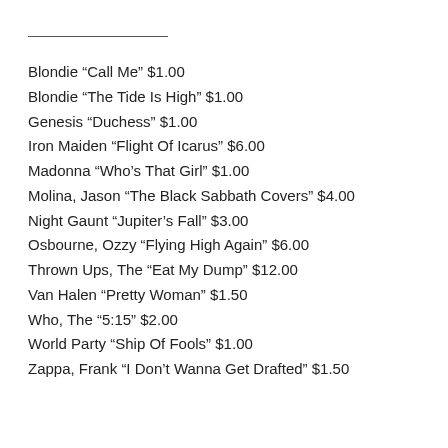Blondie “Call Me” $1.00
Blondie “The Tide Is High” $1.00
Genesis “Duchess” $1.00
Iron Maiden “Flight Of Icarus” $6.00
Madonna “Who’s That Girl” $1.00
Molina, Jason “The Black Sabbath Covers” $4.00
Night Gaunt “Jupiter’s Fall” $3.00
Osbourne, Ozzy “Flying High Again” $6.00
Thrown Ups, The “Eat My Dump” $12.00
Van Halen “Pretty Woman” $1.50
Who, The “5:15” $2.00
World Party “Ship Of Fools” $1.00
Zappa, Frank “I Don’t Wanna Get Drafted” $1.50